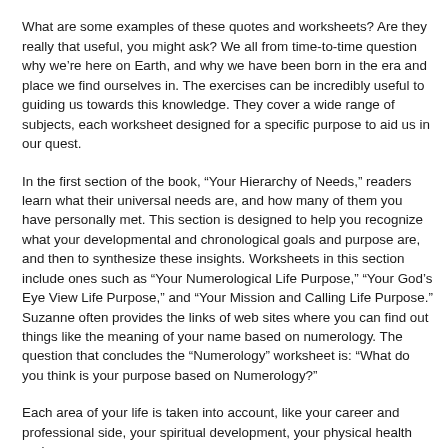the divine order of life.
What are some examples of these quotes and worksheets? Are they really that useful, you might ask? We all from time-to-time question why we're here on Earth, and why we have been born in the era and place we find ourselves in. The exercises can be incredibly useful to guiding us towards this knowledge. They cover a wide range of subjects, each worksheet designed for a specific purpose to aid us in our quest.
In the first section of the book, “Your Hierarchy of Needs,” readers learn what their universal needs are, and how many of them you have personally met. This section is designed to help you recognize what your developmental and chronological goals and purpose are, and then to synthesize these insights. Worksheets in this section include ones such as “Your Numerological Life Purpose,” “Your God’s Eye View Life Purpose,” and “Your Mission and Calling Life Purpose.” Suzanne often provides the links of web sites where you can find out things like the meaning of your name based on numerology. The question that concludes the “Numerology” worksheet is: “What do you think is your purpose based on Numerology?”
Each area of your life is taken into account, like your career and professional side, your spiritual development, your physical health and